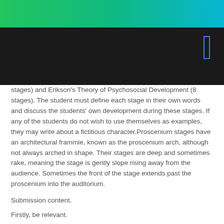[Figure (other): Green gradient header bar at top of page, followed by dark/black navigation bar with a blue outlined rectangle icon at right]
stages) and Erikson's Theory of Psychosocial Development (8 stages). The student must define each stage in their own words and discuss the students' own development during these stages. If any of the students do not wish to use themselves as examples, they may write about a fictitious character.Proscenium stages have an architectural frammie, known as the proscenium arch, although not always arched in shape. Their stages are deep and sometimes rake, meaning the stage is gently slope rising away from the audience. Sometimes the front of the stage extends past the proscenium into the auditorium.
Submission content.
Firstly, be relevant.
Firstly, be precise.